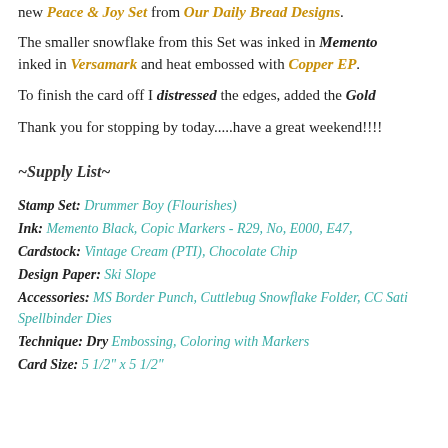new Peace & Joy Set from Our Daily Bread Designs.
The smaller snowflake from this Set was inked in Memento inked in Versamark and heat embossed with Copper EP.
To finish the card off I distressed the edges, added the Gold
Thank you for stopping by today.....have a great weekend!!!!
~Supply List~
Stamp Set: Drummer Boy (Flourishes)
Ink: Memento Black, Copic Markers - R29, No, E000, E47,
Cardstock: Vintage Cream (PTI), Chocolate Chip
Design Paper: Ski Slope
Accessories: MS Border Punch, Cuttlebug Snowflake Folder, CC Satin Spellbinder Dies
Technique: Dry Embossing, Coloring with Markers
Card Size: 5 1/2" x 5 1/2"